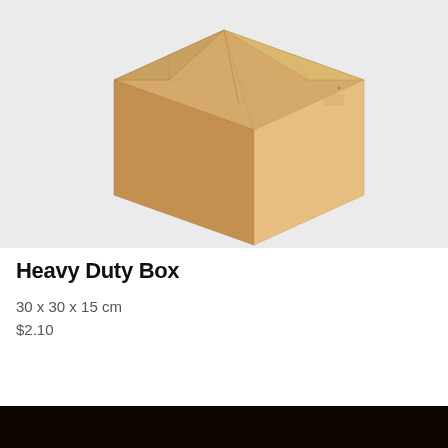[Figure (photo): A cardboard heavy duty box photographed on a light gray background, showing the top and front faces of the box at a three-quarter angle.]
Heavy Duty Box
30 x 30 x 15 cm
$2.10